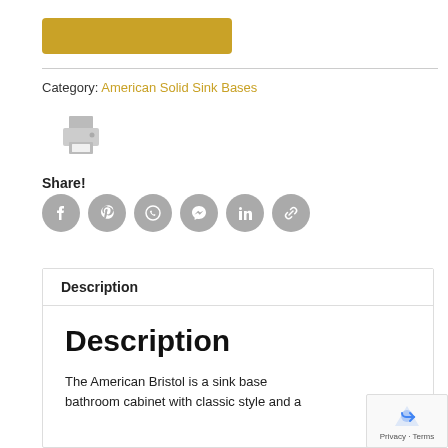[Figure (other): Gold/yellow rectangular button]
Category: American Solid Sink Bases
[Figure (other): Printer icon]
Share!
[Figure (other): Social share icons: Facebook, Pinterest, WhatsApp, Messenger, LinkedIn, Copy Link]
Description
Description
The American Bristol is a sink base bathroom cabinet with classic style and a